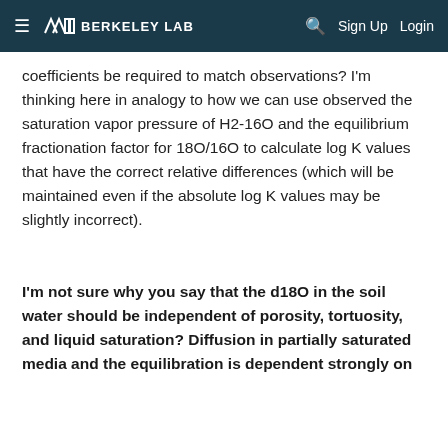Berkeley Lab — Sign Up  Login
coefficients be required to match observations? I'm thinking here in analogy to how we can use observed the saturation vapor pressure of H2-16O and the equilibrium fractionation factor for 18O/16O to calculate log K values that have the correct relative differences (which will be maintained even if the absolute log K values may be slightly incorrect).
I'm not sure why you say that the d18O in the soil water should be independent of porosity, tortuosity, and liquid saturation? Diffusion in partially saturated media and the equilibration is dependent strongly on